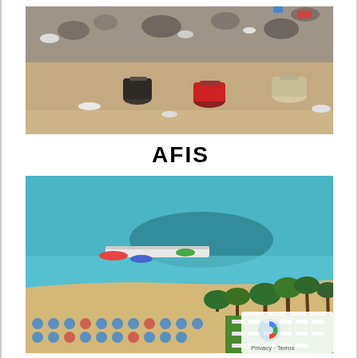[Figure (photo): Close-up photograph of beach litter including cans and bottles lying in sand and debris, with more trash visible in the background]
AFIS
[Figure (photo): Aerial photograph of a Mediterranean beach resort with turquoise water, a pier with boats, palm trees, beach umbrellas and sun loungers, and a rocky reef visible in the sea]